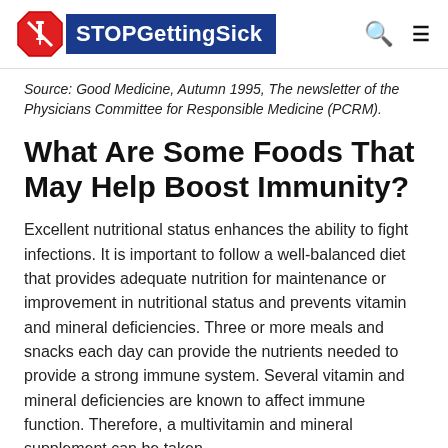STOPGettingSick
Source: Good Medicine, Autumn 1995, The newsletter of the Physicians Committee for Responsible Medicine (PCRM).
What Are Some Foods That May Help Boost Immunity?
Excellent nutritional status enhances the ability to fight infections. It is important to follow a well-balanced diet that provides adequate nutrition for maintenance or improvement in nutritional status and prevents vitamin and mineral deficiencies. Three or more meals and snacks each day can provide the nutrients needed to provide a strong immune system. Several vitamin and mineral deficiencies are known to affect immune function. Therefore, a multivitamin and mineral supplement can be taken.